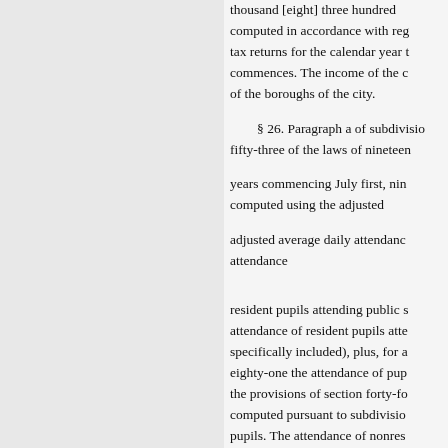thousand [eight] three hundred … computed in accordance with reg… tax returns for the calendar year t… commences. The income of the c… of the boroughs of the city.
§ 26. Paragraph a of subdivisio… fifty-three of the laws of nineteen… years commencing July first, nin… computed using the adjusted adjusted average daily attendanc… attendance
resident pupils attending public s… attendance of resident pupils atte… specifically included), plus, for a… eighty-one the attendance of pup… the provisions of section forty-fo… computed pursuant to subdivisio… pupils. The attendance of nonres… attending such schools outside o… registered during the school year… aggregate days attendance of all